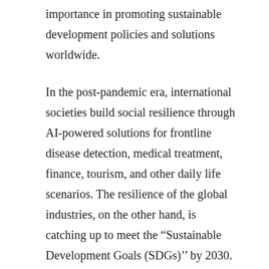importance in promoting sustainable development policies and solutions worldwide.
In the post-pandemic era, international societies build social resilience through AI-powered solutions for frontline disease detection, medical treatment, finance, tourism, and other daily life scenarios. The resilience of the global industries, on the other hand, is catching up to meet the “Sustainable Development Goals (SDGs)’’ by 2030. Cross-domain alliance has become a crucial part of the plan to foster technical innovations and to enhance global collaborations.
To bring Taiwan’s AI momentum to the world, Ethan Tu, the founder of Taiwan AI Labs, led the team to sign an MOU with the Center for Sustainable Development of Columbia University. The two parties will focus on developing AI solutions by leveraging Taiwan’s unique strengths, including 1) a streamlined COVID testing process for the hospitals and the airports; 2) cybersecurity and epistemic safety at